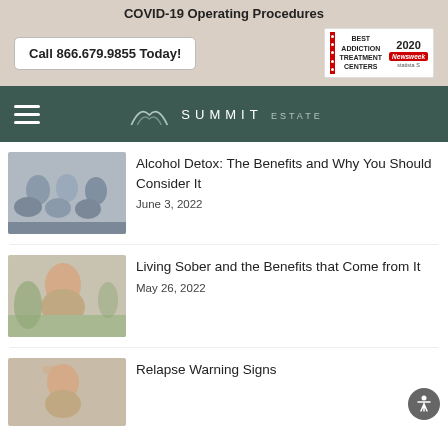COVID-19 Operating Procedures
Call 866.679.9855 Today!
[Figure (logo): Best Addiction Treatment Centers 2020 award badge by Newsweek and Statista]
[Figure (logo): Summit Estate logo with mountain line art]
[Figure (photo): Group therapy session with people sitting in circle]
Alcohol Detox: The Benefits and Why You Should Consider It
June 3, 2022
[Figure (photo): Woman smiling with eyes closed near plant]
Living Sober and the Benefits that Come from It
May 26, 2022
[Figure (photo): Woman with head in hand looking distressed]
Relapse Warning Signs